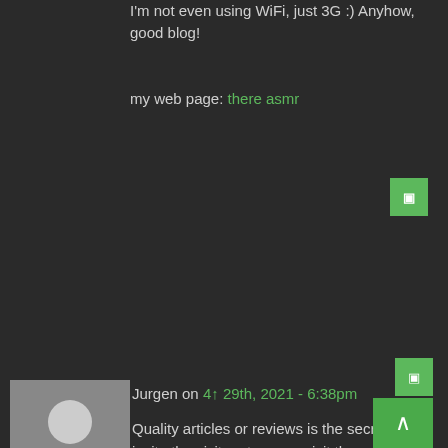I'm not even using WiFi, just 3G :) Anyhow, good blog!
my web page: there asmr
Jurgen on 4↑ 29th, 2021 - 6:38pm
Quality articles or reviews is the secret to invite the visitors to pay a visit the web site, that's what this website is providing.
my web blog: and asmr
Samira on 4↑ 29th, 2021 - 7:45pm